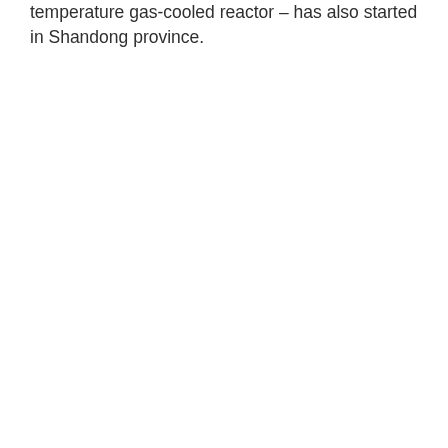temperature gas-cooled reactor – has also started in Shandong province.